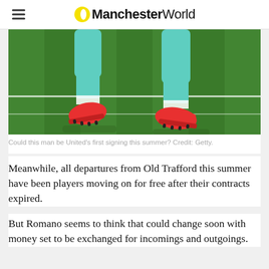Manchester World
[Figure (photo): Close-up of a footballer's legs in teal/mint green socks and red boots running on a grass pitch]
Could this man be United's first signing this summer? Credit: Getty.
Meanwhile, all departures from Old Trafford this summer have been players moving on for free after their contracts expired.
But Romano seems to think that could change soon with money set to be exchanged for incomings and outgoings.